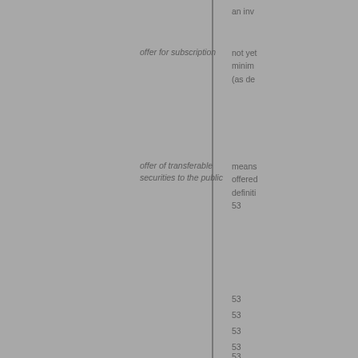an inv
offer for subscription
not yet
minim
(as de
offer of transferable
securities to the public
means
offered
definiti
53
53
53
53
53
offeror
(a)
(b)
official list
the list
Part V